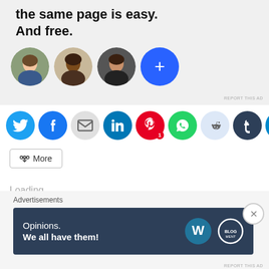[Figure (screenshot): Advertisement banner with bold text 'the same page is easy. And free.' and three circular avatar photos plus a blue plus button circle]
[Figure (infographic): Row of social share icon circles: Twitter (blue), Facebook (blue), Email (grey), LinkedIn (teal), Pinterest (red with badge '1'), WhatsApp (green), Reddit (light blue), Tumblr (dark blue), Telegram (blue)]
More
Loading...
Advertisements
[Figure (screenshot): WordPress advertisement banner: dark navy background, white text 'Opinions. We all have them!' with WordPress logo and another logo on the right]